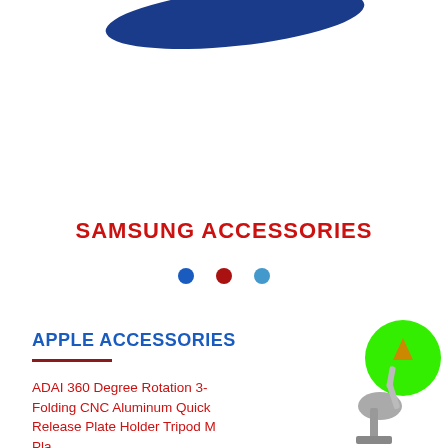[Figure (logo): Partial blue logo/blob shape at top of page]
SAMSUNG ACCESSORIES
[Figure (other): Three dots: blue, red, light blue]
APPLE ACCESSORIES
ADAI 360 Degree Rotation 3-Folding CNC Aluminum Quick Release Plate Holder Tripod M Pla...
[Figure (photo): Robotic lamp or toy figure with green circle/arrow at bottom right]